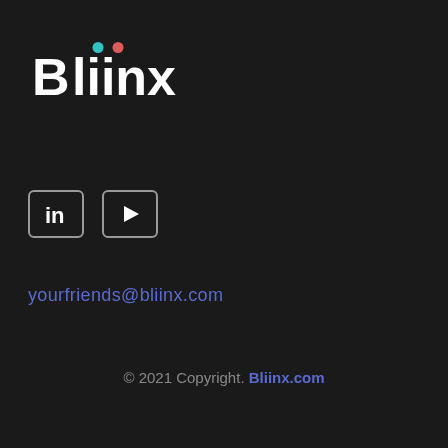[Figure (logo): Bliinx logo in white with colored dots above the two i letters (teal and orange/pink)]
[Figure (infographic): LinkedIn icon (rounded square with 'in') and YouTube icon (rounded square with play triangle), both with gray outlines on dark background]
yourfriends@bliinx.com
© 2021 Copyright. Bliinx.com